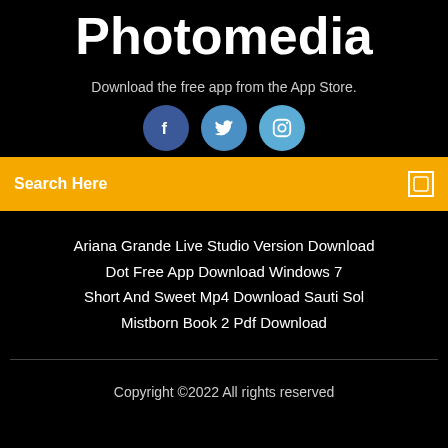Photomedia
Download the free app from the App Store.
[Figure (illustration): Three social media icon circles: Facebook (dark blue), Twitter (medium blue), Instagram (light blue)]
Search Here
Ariana Grande Live Studio Version Download
Dot Free App Download Windows 7
Short And Sweet Mp4 Download Sauti Sol
Mistborn Book 2 Pdf Download
Copyright ©2022 All rights reserved